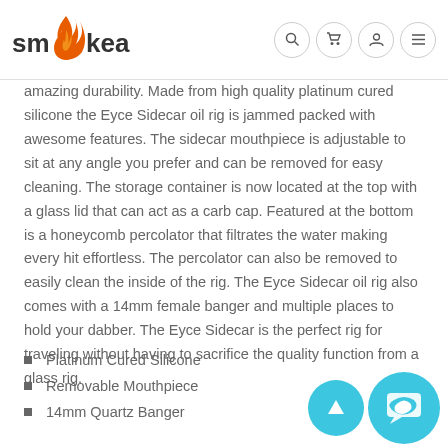smokea [logo with nav icons: search, cart, account, menu]
amazing durability. Made from high quality platinum cured silicone the Eyce Sidecar oil rig is jammed packed with awesome features. The sidecar mouthpiece is adjustable to sit at any angle you prefer and can be removed for easy cleaning. The storage container is now located at the top with a glass lid that can act as a carb cap. Featured at the bottom is a honeycomb percolator that filtrates the water making every hit effortless. The percolator can also be removed to easily clean the inside of the rig. The Eyce Sidecar oil rig also comes with a 14mm female banger and multiple places to hold your dabber. The Eyce Sidecar is the perfect rig for traveling without having to sacrifice the quality function from a glass rig.
Platinum Cured Silicone
Removable Mouthpiece
14mm Quartz Banger